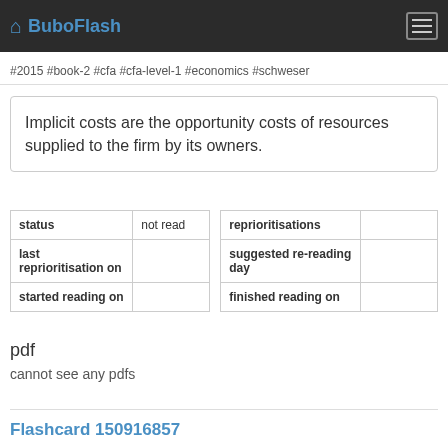BuboFlash
#2015 #book-2 #cfa #cfa-level-1 #economics #schweser
Implicit costs are the opportunity costs of resources supplied to the firm by its owners.
| status | not read |
| last reprioritisation on |  |
| started reading on |  |
| reprioritisations |  |
| suggested re-reading day |  |
| finished reading on |  |
pdf
cannot see any pdfs
Flashcard 150916857